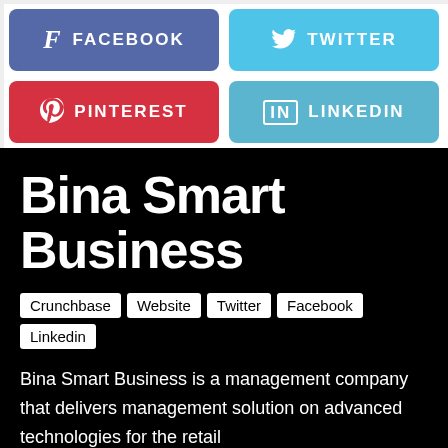[Figure (infographic): Social media share buttons: Facebook (purple-blue), Twitter (light blue), Pinterest (red), LinkedIn (light blue), each with icon and label]
Bina Smart Business
Crunchbase
Website
Twitter
Facebook
Linkedin
Bina Smart Business is a management company that delivers management solution on advanced technologies for the retail